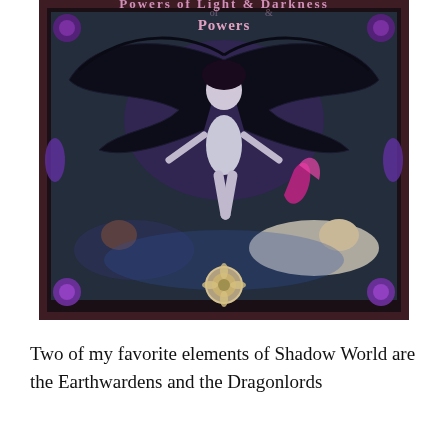[Figure (illustration): Book cover illustration titled 'Powers of Light & Darkness' featuring a dark fantasy scene: a female figure in black clothing floating/hovering at center, with large bat-like wings spread behind her, set against a stone dungeon backdrop. Two fallen figures lie below her, and the frame is decorated with purple ornamental details at the corners. A floral emblem appears at the bottom center of the frame.]
Two of my favorite elements of Shadow World are the Earthwardens and the Dragonlords